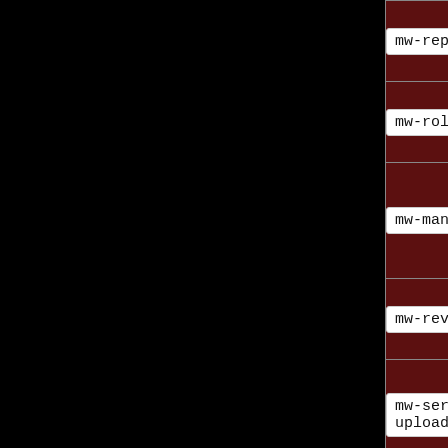| Code | Label |
| --- | --- |
| mw-replace | Replaced |
| mw-rollback | Rollback |
| mw-manual-revert | Manual revert |
| mw-reverted | Reverted |
| mw-server-side-upload | Server-side upload |
| mw-add-media | (hidden) |